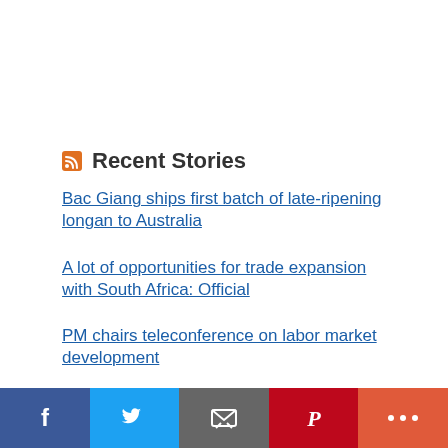Recent Stories
Bac Giang ships first batch of late-ripening longan to Australia
A lot of opportunities for trade expansion with South Africa: Official
PM chairs teleconference on labor market development
Universities urged to attract more foreign students
Da Nang seeks to promote tourism on Tiktok
[Figure (infographic): Social sharing bar with Facebook, Twitter, Email, Pinterest, and More (+) buttons]